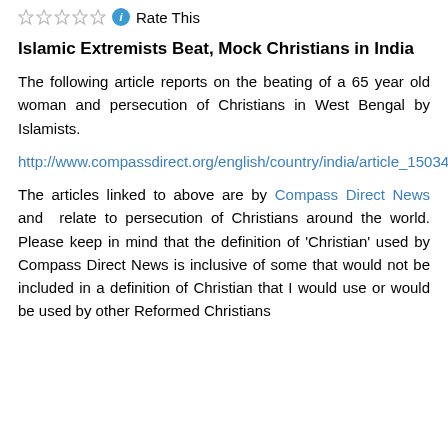Rate This
Islamic Extremists Beat, Mock Christians in India
The following article reports on the beating of a 65 year old woman and persecution of Christians in West Bengal by Islamists.
http://www.compassdirect.org/english/country/india/article_1503416.html
The articles linked to above are by Compass Direct News and  relate to persecution of Christians around the world. Please keep in mind that the definition of 'Christian' used by Compass Direct News is inclusive of some that would not be included in a definition of Christian that I would use or would be used by other Reformed Christians